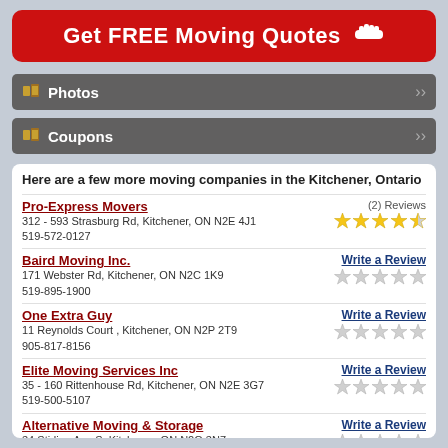[Figure (infographic): Red button with white bold text 'Get FREE Moving Quotes' and a pointing hand icon]
Photos
Coupons
Here are a few more moving companies in the Kitchener, Ontario
Pro-Express Movers
312 - 593 Strasburg Rd, Kitchener, ON N2E 4J1
519-572-0127
(2) Reviews — 4.5 stars
Baird Moving Inc.
171 Webster Rd, Kitchener, ON N2C 1K9
519-895-1900
Write a Review — 0 stars
One Extra Guy
11 Reynolds Court , Kitchener, ON N2P 2T9
905-817-8156
Write a Review — 0 stars
Elite Moving Services Inc
35 - 160 Rittenhouse Rd, Kitchener, ON N2E 3G7
519-500-5107
Write a Review — 0 stars
Alternative Moving & Storage
34 Stirling Ave S, Kitchener, ON N2G 3N7
519-749-8345
Write a Review — 0 stars
Attuned Moving
Write a Review